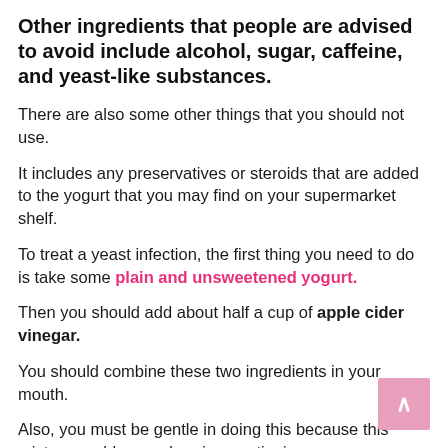Other ingredients that people are advised to avoid include alcohol, sugar, caffeine, and yeast-like substances.
There are also some other things that you should not use.
It includes any preservatives or steroids that are added to the yogurt that you may find on your supermarket shelf.
To treat a yeast infection, the first thing you need to do is take some plain and unsweetened yogurt.
Then you should add about half a cup of apple cider vinegar.
You should combine these two ingredients in your mouth.
Also, you must be gentle in doing this because this mixture could cause burning or stinging.
It will also work best if you mix it with honey, which is